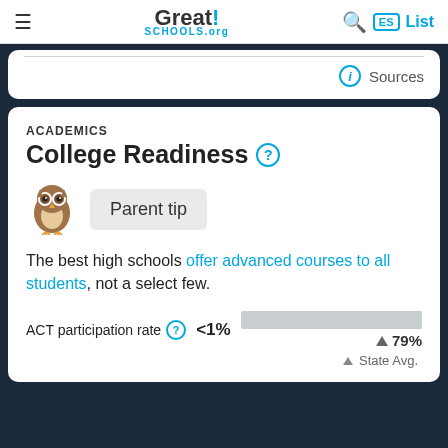Great!SCHOOLS.org — ES — List
Sources
ACADEMICS
College Readiness ?
Parent tip
The best high schools offer advanced courses to all students, not a select few.
ACT participation rate <1%  79%
State Avg.